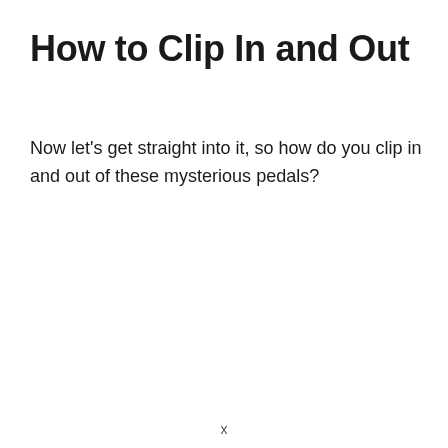How to Clip In and Out
Now let's get straight into it, so how do you clip in and out of these mysterious pedals?
x